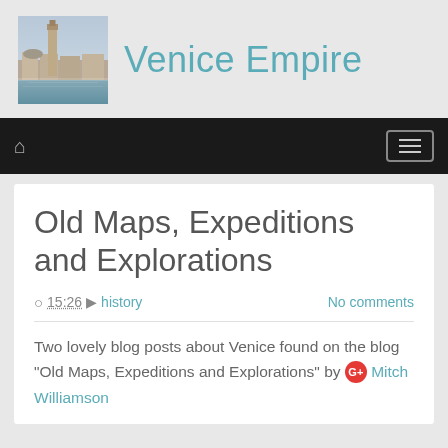[Figure (photo): Venice skyline with Campanile di San Marco and waterfront buildings, viewed from the water]
Venice Empire
[Figure (screenshot): Navigation bar with home icon on left and hamburger menu button on right, dark background]
Old Maps, Expeditions and Explorations
15:26  history  No comments
Two lovely blog posts about Venice found on the blog "Old Maps, Expeditions and Explorations" by  Mitch Williamson